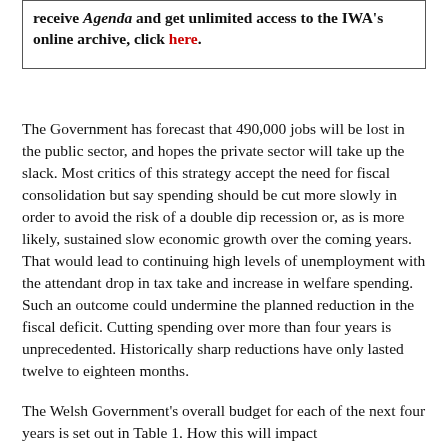receive Agenda and get unlimited access to the IWA's online archive, click here.
The Government has forecast that 490,000 jobs will be lost in the public sector, and hopes the private sector will take up the slack. Most critics of this strategy accept the need for fiscal consolidation but say spending should be cut more slowly in order to avoid the risk of a double dip recession or, as is more likely, sustained slow economic growth over the coming years. That would lead to continuing high levels of unemployment with the attendant drop in tax take and increase in welfare spending. Such an outcome could undermine the planned reduction in the fiscal deficit. Cutting spending over more than four years is unprecedented. Historically sharp reductions have only lasted twelve to eighteen months.
The Welsh Government's overall budget for each of the next four years is set out in Table 1. How this will impact